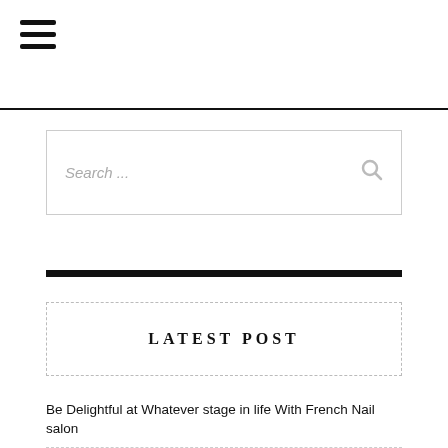[Figure (other): Hamburger menu icon (three horizontal bars)]
[Figure (screenshot): Search input box with placeholder 'Search ...' and search icon on the right]
LATEST POST
Be Delightful at Whatever stage in life With French Nail salon
Buying independently Land Individual Retirement Account
The Top Purposes Of Watching Football Live Streaming TV
Why Do You Want Movement Enacted Video Surveillance?
Benefits of Bluehost Web Hosting Company Utilizing Servers